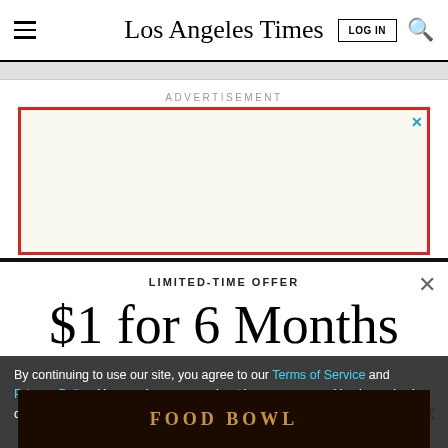Los Angeles Times
ADVERTISEMENT
[Figure (other): Advertisement box with red border on cream background with blue X close button]
LIMITED-TIME OFFER
$1 for 6 Months
SUBSCRIBE NOW
By continuing to use our site, you agree to our Terms of Service and Privacy Policy. You can learn more about how we use cookies by reviewing our Privacy Policy. Close
[Figure (other): Footer advertisement banner for a food bowl event at City National Bank]